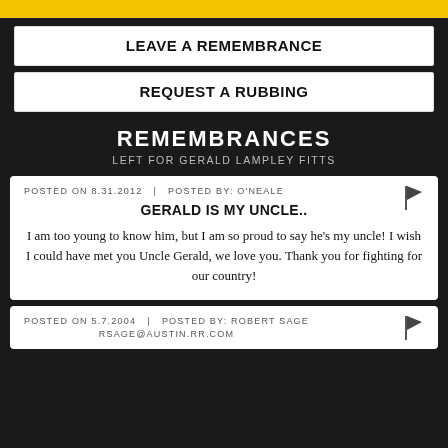[Figure (other): Yellow decorative bar at top]
LEAVE A REMEMBRANCE
REQUEST A RUBBING
REMEMBRANCES
LEFT FOR GERALD LAMPLEY FITTS
POSTED ON 8.31.2012   |   POSTED BY: O'NEALE
GERALD IS MY UNCLE..
I am too young to know him, but I am so proud to say he's my uncle! I wish I could have met you Uncle Gerald, we love you. Thank you for fighting for our country!
POSTED ON 5.7.2004   |   POSTED BY: ROBERT SAGE
RSAGE@AUSTIN.RR.COM